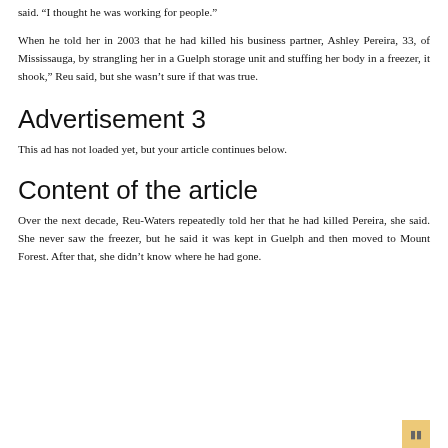said. “I thought he was working for people.”
When he told her in 2003 that he had killed his business partner, Ashley Pereira, 33, of Mississauga, by strangling her in a Guelph storage unit and stuffing her body in a freezer, it shook,” Reu said, but she wasn’t sure if that was true.
Advertisement 3
This ad has not loaded yet, but your article continues below.
Content of the article
Over the next decade, Reu-Waters repeatedly told her that he had killed Pereira, she said. She never saw the freezer, but he said it was kept in Guelph and then moved to Mount Forest. After that, she didn’t know where he had gone.